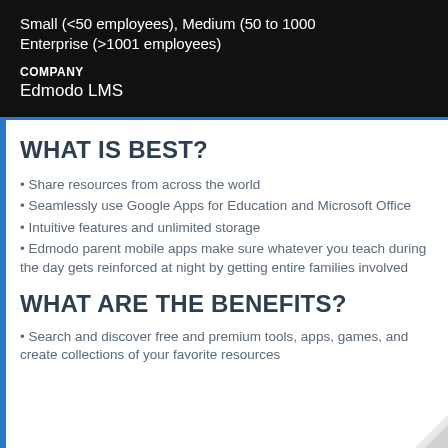Small (<50 employees), Medium (50 to 1000 Enterprise (>1001 employees)
COMPANY
Edmodo LMS
WHAT IS BEST?
Share resources from across the world
Seamlessly use Google Apps for Education and Microsoft Office
Intuitive features and unlimited storage
Edmodo parent mobile apps make sure whatever you teach during the day gets reinforced at night by getting entire families involved
WHAT ARE THE BENEFITS?
Search and discover free and premium tools, apps, games, and create collections of your favorite resources